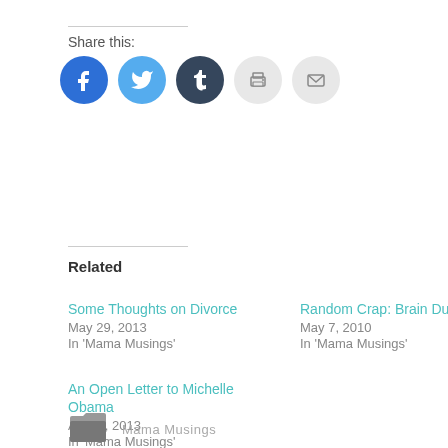Share this:
[Figure (infographic): Social sharing icons: Facebook (blue circle), Twitter (light blue circle), Tumblr (dark blue circle), Print (light grey circle with printer icon), Email (light grey circle with envelope icon)]
Related
Some Thoughts on Divorce
May 29, 2013
In 'Mama Musings'
Random Crap: Brain Dump
May 7, 2010
In 'Mama Musings'
An Open Letter to Michelle Obama
April 9, 2013
In 'Mama Musings'
Mama Musings